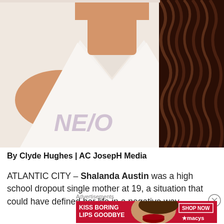[Figure (photo): Cropped photo of a woman with curly dark hair wearing a white v-neck shirt with partial text visible on it, showing neck and upper chest area against white background]
By Clyde Hughes | AC JosepH Media
ATLANTIC CITY – Shalanda Austin was a high school dropout single mother at 19, a situation that could have defined her life in a negative way
Advertisements
[Figure (photo): Macy's advertisement banner: 'KISS BORING LIPS GOODBYE' with SHOP NOW button and Macy's star logo, featuring a woman's face with red lips]